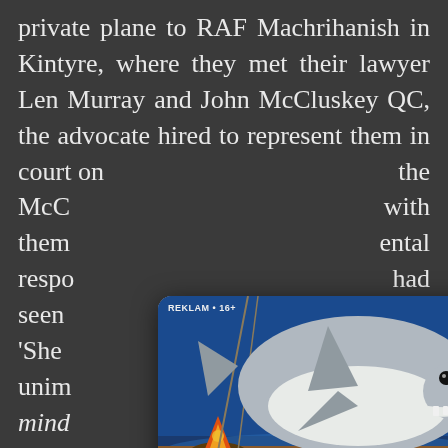private plane to RAF Machrihanish in Kintyre, where they met their lawyer Len Murray and John McCluskey QC, the advocate hired to represent them in court on [the] McCl[uskey] with them [ental] respo[nsibility] had seen [ight]. 'She [is an] unim[portant] her min[d] John McCl[uskey] e it throu[gh] g at the proceedings. Paul was in a more sober frame of mind, knowing the problems a drugs conviction could cause him. There was immediate good news, though. Before
[Figure (screenshot): Ad overlay for 'Survive in Raft Survival – Ocean' mobile game. Shows REKLAM • 16+ label, shark image on a raft background, app icon (RAFT branding), 4.7 star rating, 'Ücretsiz' (free), and App Store'dan indirin button. Close X button in top right.]